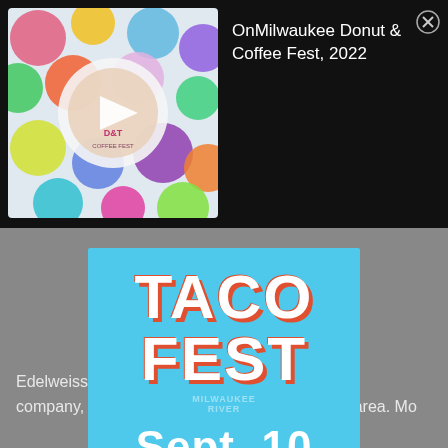[Figure (screenshot): Donut & Coffee Fest colorful thumbnail with play button overlay]
OnMilwaukee Donut & Coffee Fest, 2022
[Figure (infographic): Taco Fest popup advertisement: TACO FEST Sept. 10, Get tickets button, Henry Maier Festival Park, with taco food image at bottom]
Edelweiss Cruises is Milwaukee's premier cruise company, featuring the largest tour boats in the area. Most ships have multiple decks, restrooms, a full bar, and private cabins allowing for an intimate celebration.